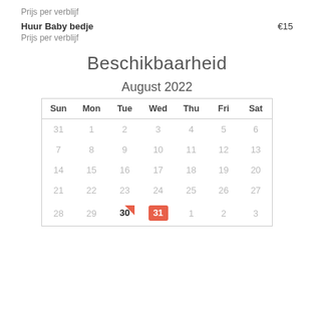Prijs per verblijf
Huur Baby bedje   €15
Prijs per verblijf
Beschikbaarheid
August 2022
[Figure (other): Monthly calendar for August 2022 showing days 31 (Jul), 1-31 (Aug), 1-3 (Sep). Days 30 and 31 August are highlighted in orange/red indicating booked dates. Day 30 has a partial triangle marker, day 31 has full orange background.]